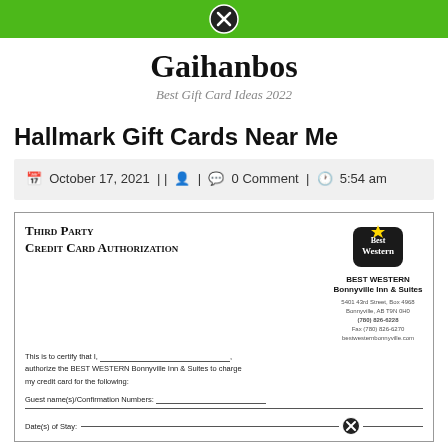[navigation bar with green background and close button]
Gaihanbos
Best Gift Card Ideas 2022
Hallmark Gift Cards Near Me
October 17, 2021 | |  | 0 Comment | 5:54 am
[Figure (other): Third Party Credit Card Authorization form from Best Western Bonnyville Inn & Suites. Shows form fields for guest name, confirmation numbers, and dates of stay. Best Western logo visible in top right of form.]